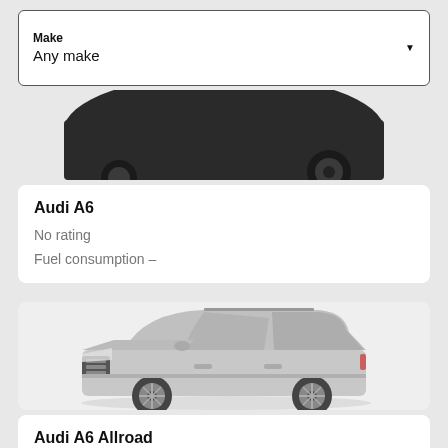Make
Any make
[Figure (photo): Partial view of a dark car (top portion cropped), showing the rear section and wheel]
Audi A6
No rating
Fuel consumption  -
[Figure (photo): Silver Audi A6 Allroad station wagon/estate car, three-quarter front view on light grey background]
Audi A6 Allroad
No rating